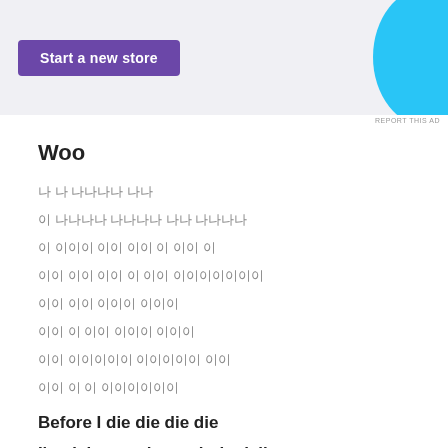[Figure (screenshot): Advertisement banner with purple 'Start a new store' button on grey background, with blue decorative shape on right side and 'REPORT THIS AD' text below]
Woo
나는 나의 선택들이 다 돼
이 세상에서 내가내가 나로 살아가
이 깊게도 이 딸 이 이 이 이
내 내 이 이 이 이 이 내내내내내내내
이 이 이이이 이이이
이 이 이 이이이 이이이
이 이이이이이 이이이이이 이이
이이 이 이 이이이이이이
Before I die die die die
I'm dying, go just rob the jail
It's ok tell me lie lie lie lie